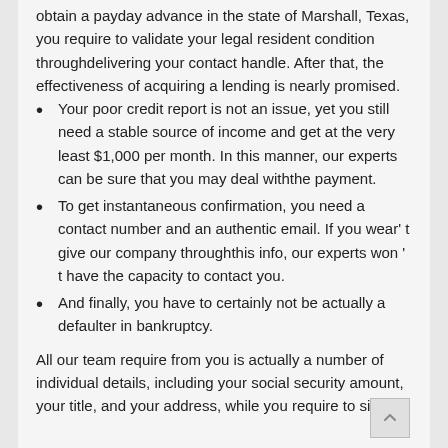obtain a payday advance in the state of Marshall, Texas, you require to validate your legal resident condition throughdelivering your contact handle. After that, the effectiveness of acquiring a lending is nearly promised.
Your poor credit report is not an issue, yet you still need a stable source of income and get at the very least $1,000 per month. In this manner, our experts can be sure that you may deal withthe payment.
To get instantaneous confirmation, you need a contact number and an authentic email. If you wear' t give our company throughthis info, our experts won ' t have the capacity to contact you.
And finally, you have to certainly not be actually a defaulter in bankruptcy.
All our team require from you is actually a number of individual details, including your social security amount, your title, and your address, while you require to signify